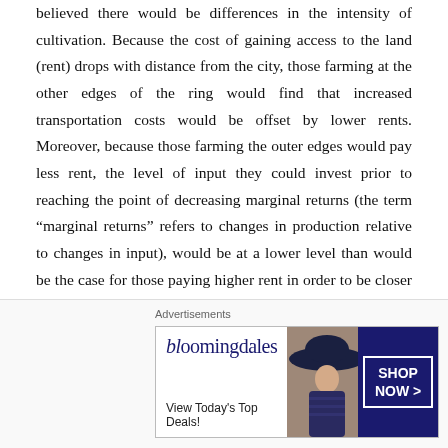believed there would be differences in the intensity of cultivation. Because the cost of gaining access to the land (rent) drops with distance from the city, those farming at the other edges of the ring would find that increased transportation costs would be offset by lower rents. Moreover, because those farming the outer edges would pay less rent, the level of input they could invest prior to reaching the point of decreasing marginal returns (the term “marginal returns” refers to changes in production relative to changes in input), would be at a lower level than would be the case for those paying higher rent in order to be closer to the market. Therefore, they would not farm as intensely as those working land closer to the urban center.
[Figure (other): Bloomingdale's advertisement banner with logo, tagline 'View Today's Top Deals!', woman with wide-brim hat, and 'SHOP NOW >' button.]